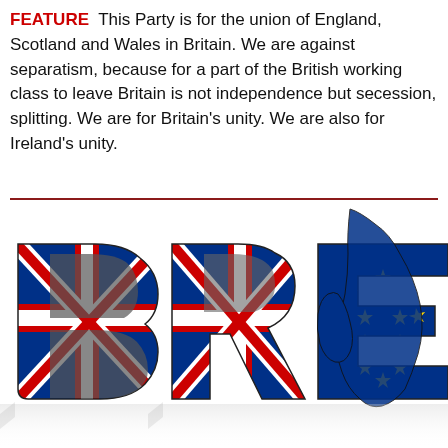FEATURE  This Party is for the union of England, Scotland and Wales in Britain. We are against separatism, because for a part of the British working class to leave Britain is not independence but secession, splitting. We are for Britain's unity. We are also for Ireland's unity.
[Figure (illustration): 3D BREXIT text rendered with Union Jack flag pattern on the letters B, R, E and European Union flag pattern on X, I letters, with a silhouette map of Great Britain and Ireland overlaid on the right portion, with a reflection effect below]